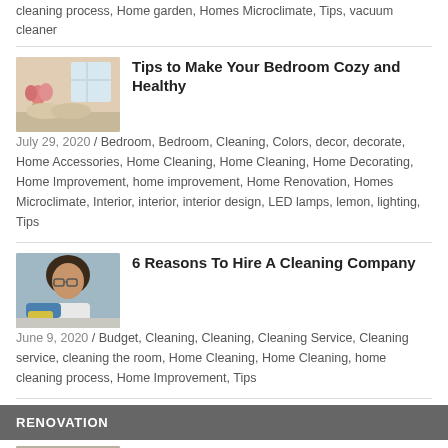cleaning process, Home garden, Homes Microclimate, Tips, vacuum cleaner
[Figure (photo): Bedroom photo with flowers and cozy bedding]
Tips to Make Your Bedroom Cozy and Healthy
July 29, 2020 / Bedroom, Bedroom, Cleaning, Colors, decor, decorate, Home Accessories, Home Cleaning, Home Cleaning, Home Decorating, Home Improvement, home improvement, Home Renovation, Homes Microclimate, Interior, interior, interior design, LED lamps, lemon, lighting, Tips
[Figure (photo): Person cleaning with blue gloves and yellow cloth]
6 Reasons To Hire A Cleaning Company
June 9, 2020 / Budget, Cleaning, Cleaning, Cleaning Service, Cleaning service, cleaning the room, Home Cleaning, Home Cleaning, home cleaning process, Home Improvement, Tips
RENOVATION
[Figure (photo): Man with build or buy sign]
Pros And Cons Of Buying Or Building A Ho...